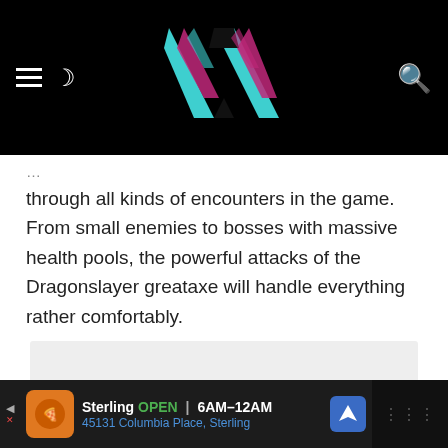Website header with logo, hamburger menu, moon/dark-mode icon, and search icon
through all kinds of encounters in the game. From small enemies to bosses with massive health pools, the powerful attacks of the Dragonslayer greataxe will handle everything rather comfortably.
[Figure (other): Gray placeholder advertisement box area]
Sterling OPEN | 6AM–12AM 45131 Columbia Place, Sterling — advertisement banner